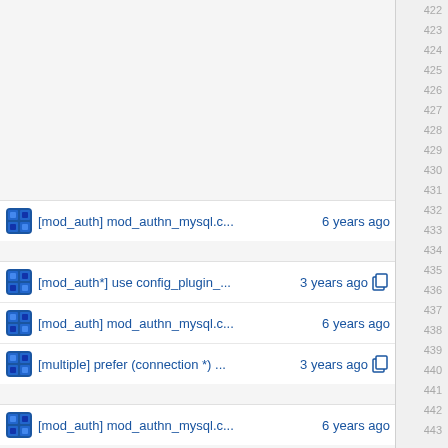[mod_auth] mod_authn_mysql.c... 6 years ago — line 432
[mod_auth*] use config_plugin_... 3 years ago — line 434
[mod_auth] mod_authn_mysql.c... 6 years ago — line 435
[multiple] prefer (connection *) ... 3 years ago — line 436
[mod_auth] mod_authn_mysql.c... 6 years ago — line 438
[mod_auth*] use config_plugin_... 3 years ago — line 441
[mod_auth] mod_authn_mysql.c... 6 years ago — line 442
[multiple] split con_request (ver... 3 years ago — line 443